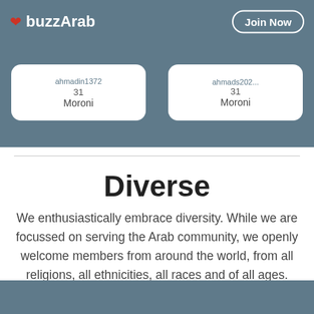buzzArab | Join Now
[Figure (screenshot): Two profile cards showing user names partially visible (ahmadin1372, ahmads202...) each showing age 31 and city Moroni]
Diverse
We enthusiastically embrace diversity. While we are focussed on serving the Arab community, we openly welcome members from around the world, from all religions, all ethnicities, all races and of all ages.